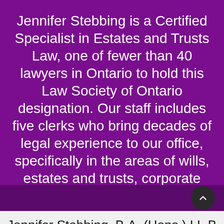Jennifer Stebbing is a Certified Specialist in Estates and Trusts Law, one of fewer than 40 lawyers in Ontario to hold this Law Society of Ontario designation. Our staff includes five clerks who bring decades of legal experience to our office, specifically in the areas of wills, estates and trusts, corporate work and real estate. Our high standards of legal service are reflected in the prompt and personal attention we provide to clients.
Jennifer Stebbing, B.A. (Hons.) LL.B.